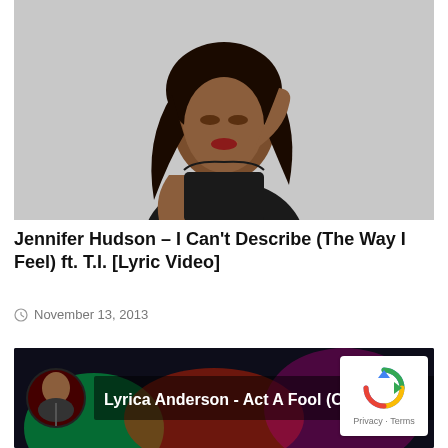[Figure (photo): Portrait photo of Jennifer Hudson in a black strapless dress against a grey background, looking down and smiling]
Jennifer Hudson – I Can't Describe (The Way I Feel) ft. T.I. [Lyric Video]
November 13, 2013
[Figure (screenshot): Video thumbnail for Lyrica Anderson - Act A Fool (Official...) with reCAPTCHA Privacy - Terms overlay in top right corner]